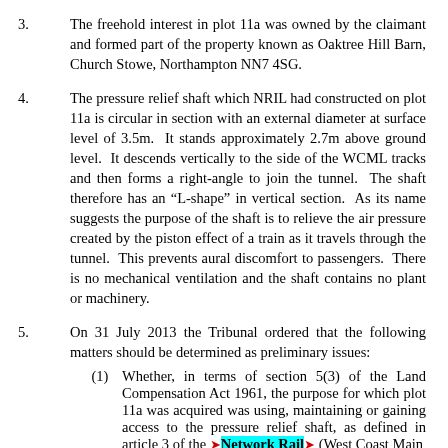3.	The freehold interest in plot 11a was owned by the claimant and formed part of the property known as Oaktree Hill Barn, Church Stowe, Northampton NN7 4SG.
4.	The pressure relief shaft which NRIL had constructed on plot 11a is circular in section with an external diameter at surface level of 3.5m. It stands approximately 2.7m above ground level. It descends vertically to the side of the WCML tracks and then forms a right-angle to join the tunnel. The shaft therefore has an “L-shape” in vertical section. As its name suggests the purpose of the shaft is to relieve the air pressure created by the piston effect of a train as it travels through the tunnel. This prevents aural discomfort to passengers. There is no mechanical ventilation and the shaft contains no plant or machinery.
5.	On 31 July 2013 the Tribunal ordered that the following matters should be determined as preliminary issues:
(1)	Whether, in terms of section 5(3) of the Land Compensation Act 1961, the purpose for which plot 11a was acquired was using, maintaining or gaining access to the pressure relief shaft, as defined in article 3 of the ‹Network Rail› (West Coast Main